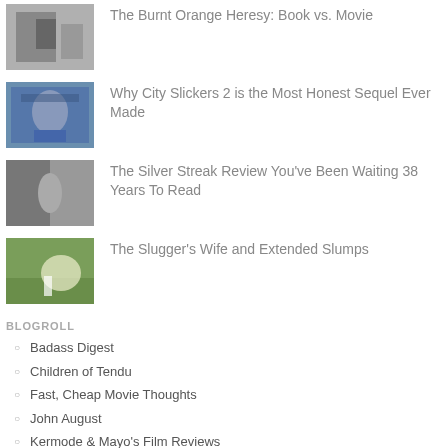[Figure (photo): Thumbnail image for The Burnt Orange Heresy article]
The Burnt Orange Heresy: Book vs. Movie
[Figure (photo): Thumbnail image for City Slickers 2 article, person in cowboy hat]
Why City Slickers 2 is the Most Honest Sequel Ever Made
[Figure (photo): Thumbnail image for Silver Streak Review article]
The Silver Streak Review You've Been Waiting 38 Years To Read
[Figure (photo): Thumbnail image for The Slugger's Wife article, baseball player]
The Slugger's Wife and Extended Slumps
BLOGROLL
Badass Digest
Children of Tendu
Fast, Cheap Movie Thoughts
John August
Kermode & Mayo's Film Reviews
Make it a Double Feature
ms.frontelet